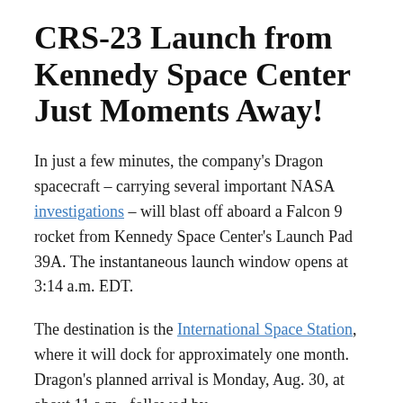CRS-23 Launch from Kennedy Space Center Just Moments Away!
In just a few minutes, the company's Dragon spacecraft – carrying several important NASA investigations – will blast off aboard a Falcon 9 rocket from Kennedy Space Center's Launch Pad 39A. The instantaneous launch window opens at 3:14 a.m. EDT.
The destination is the International Space Station, where it will dock for approximately one month. Dragon's planned arrival is Monday, Aug. 30, at about 11 a.m., followed by